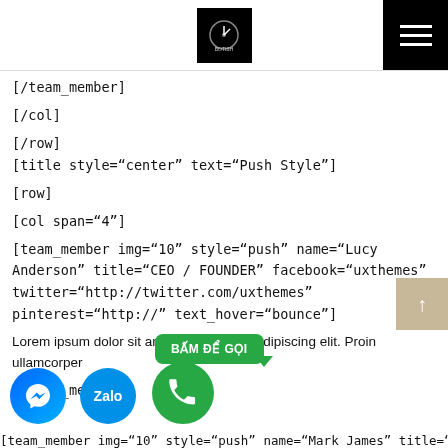[Navigation header with logo and hamburger menu]
[/team_member]
[/col]
[/row]
[title style="center" text="Push Style"]
[row]
[col span="4"]
[team_member img="10" style="push" name="Lucy Anderson" title="CEO / FOUNDER" facebook="uxthemes" twitter="http://twitter.com/uxthemes" pinterest="http://" text_hover="bounce"]
Lorem ipsum dolor sit amet, consectetur adipiscing elit. Proin ullamcorper
[/team_member]
[Figure (screenshot): Floating UI overlays: green call tooltip saying BẤM ĐỂ GỌI, Messenger button, Zalo button, phone button, and partial bottom text about team_member img="10" style="push" name="Mark James" title="CTO /"]